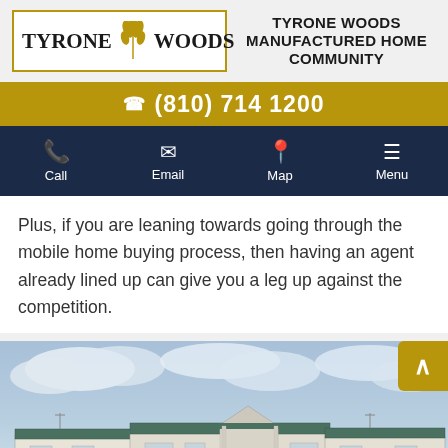TYRONE WOODS MANUFACTURED HOME COMMUNITY
[Figure (logo): Tyrone Woods logo with wheat graphic in a gold-bordered box]
(810) 714 1200
Call | Email | Map | Menu
Plus, if you are leaning towards going through the mobile home buying process, then having an agent already lined up can give you a leg up against the competition.
[Figure (photo): Exterior photo of manufactured/mobile homes with cloudy sky background]